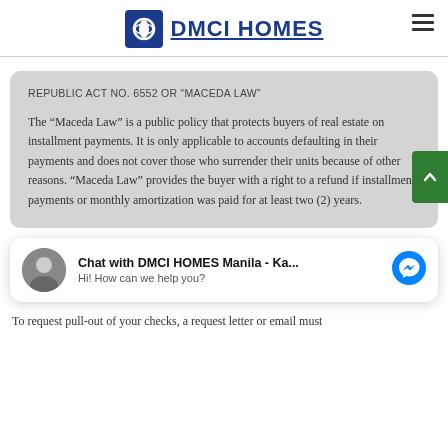[Figure (logo): DMCI HOMES logo with blue wing/diamond icon and bold blue text]
REPUBLIC ACT NO. 6552 OR “MACADA LAW”
The “Maceda Law” is a public policy that protects buyers of real estate on installment payments. It is only applicable to accounts defaulting in their payments and does not cover those who surrender their units because of other reasons. “Maceda Law” provides the buyer with a right to a refund if installment payments or monthly amortization was paid for at least two (2) years.
[Figure (screenshot): Facebook Messenger chat widget with avatar photo of a woman, title 'Chat with DMCI HOMES Manila - Ka...' and subtitle 'Hi! How can we help you?']
To request pull-out of your checks, a request letter or email must